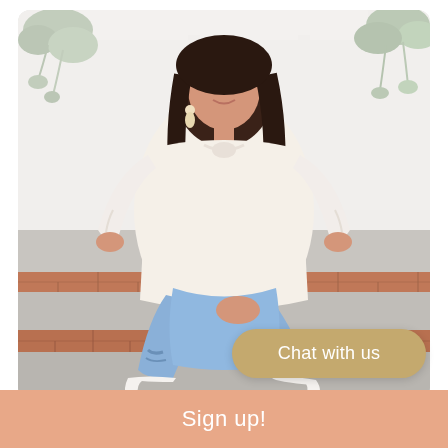[Figure (photo): A smiling woman with long dark hair sitting on brick and stone steps outdoors. She is wearing a white lace/crochet long-sleeve blouse with a bow tie neckline, light blue ripped skinny jeans, and white pointed-toe high heel pumps. Behind her is a white building exterior with hanging green plants.]
Chat with us
Sign up!